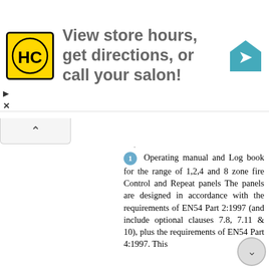[Figure (logo): HC logo on yellow background with 'HC' text and map/directions icon, ad banner reading 'View store hours, get directions, or call your salon!']
Operating manual and Log book for the range of 1,2,4 and 8 zone fire Control and Repeat panels The panels are designed in accordance with the requirements of EN54 Part 2:1997 (and include optional clauses 7.8, 7.11 & 10), plus the requirements of EN54 Part 4:1997. This publication covers the: Conventional fire alarm panels: 1 zone panels:- XENEX1, NMB, and LB 2 zone panels:- XENEX2, NMB, and LB 4 zone panels:- XENEX4, NMB, and LB 8 zone panels:- XENEX8, NMB, and LB Fire alarm repeat panels: XENEX RPT, NMB and and LB. Panel code ending with LB signify Less batteries. This manual and logbook is